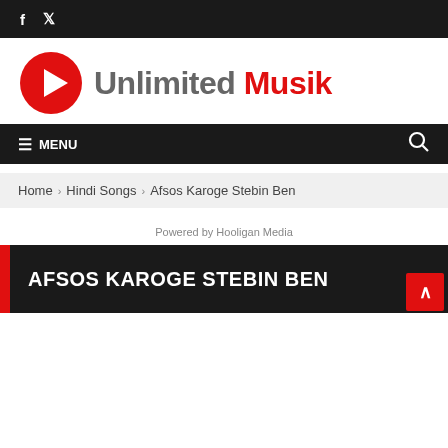Social media icons: Facebook, Twitter
[Figure (logo): Unlimited Musik logo with red play button icon and text 'Unlimited Musik' where 'Musik' is in red]
≡ MENU [search icon]
Home › Hindi Songs › Afsos Karoge Stebin Ben
Powered by Hooligan Media
AFSOS KAROGE STEBIN BEN